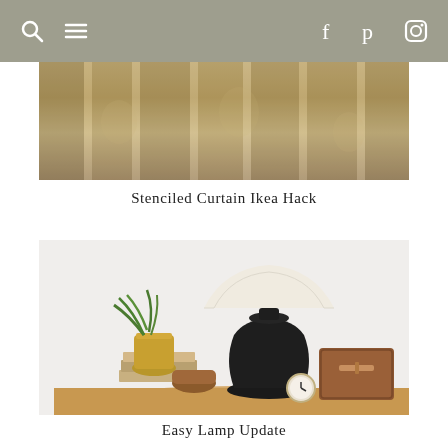Navigation header with search, menu, Facebook, Pinterest, Instagram icons
[Figure (photo): Stenciled curtains with gold and beige tones, showing fabric folds and decorative pattern]
Stenciled Curtain Ikea Hack
[Figure (photo): A black lamp with cream shade on a round wooden side table, styled with a brass planter with fern, brown leather box, small clock, and books]
Easy Lamp Update
[Figure (photo): A heron bird illustration in a gold ornate frame, partially visible at the bottom of the page]